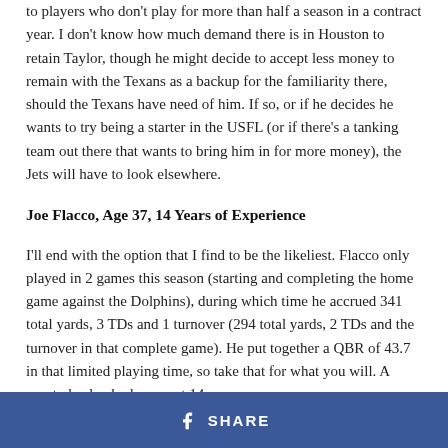to players who don't play for more than half a season in a contract year. I don't know how much demand there is in Houston to retain Taylor, though he might decide to accept less money to remain with the Texans as a backup for the familiarity there, should the Texans have need of him. If so, or if he decides he wants to try being a starter in the USFL (or if there's a tanking team out there that wants to bring him in for more money), the Jets will have to look elsewhere.
Joe Flacco, Age 37, 14 Years of Experience
I'll end with the option that I find to be the likeliest. Flacco only played in 2 games this season (starting and completing the home game against the Dolphins), during which time he accrued 341 total yards, 3 TDs and 1 turnover (294 total yards, 2 TDs and the turnover in that complete game). He put together a QBR of 43.7 in that limited playing time, so take that for what you will. A quarterback who has spent 14
SHARE